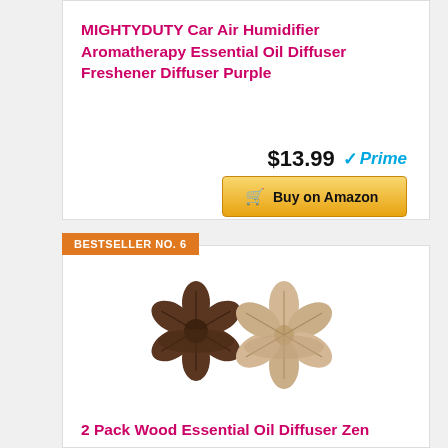MIGHTYDUTY Car Air Humidifier Aromatherapy Essential Oil Diffuser Freshener Diffuser Purple
$13.99 Prime
Buy on Amazon
BESTSELLER NO. 6
[Figure (photo): Two flower-shaped wooden essential oil diffusers, one dark brown and one light beige/natural wood color, side by side]
2 Pack Wood Essential Oil Diffuser Zen